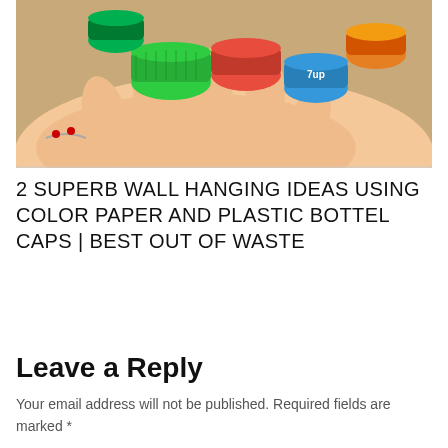[Figure (photo): A pair of hands holding a collection of colorful plastic bottle caps (green, red, blue, orange) against a wooden surface background. The person is wearing a bracelet.]
2 SUPERB WALL HANGING IDEAS USING COLOR PAPER AND PLASTIC BOTTEL CAPS | BEST OUT OF WASTE
Leave a Reply
Your email address will not be published. Required fields are marked *